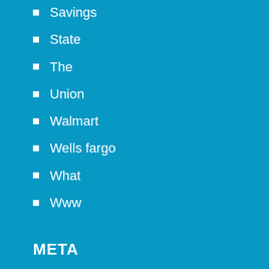Savings
State
The
Union
Walmart
Wells fargo
What
Www
META
Log in
Entries feed
Comments feed